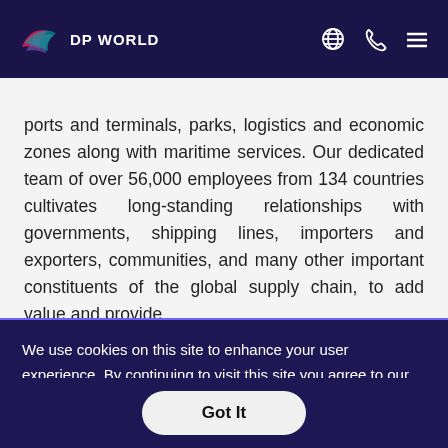DP WORLD
ports and terminals, parks, logistics and economic zones along with maritime services. Our dedicated team of over 56,000 employees from 134 countries cultivates long-standing relationships with governments, shipping lines, importers and exporters, communities, and many other important constituents of the global supply chain, to add value and provide
We use cookies on this site to enhance your user experience. By continuing to visit this site you agree to our use of cookies. Learn More
Got It